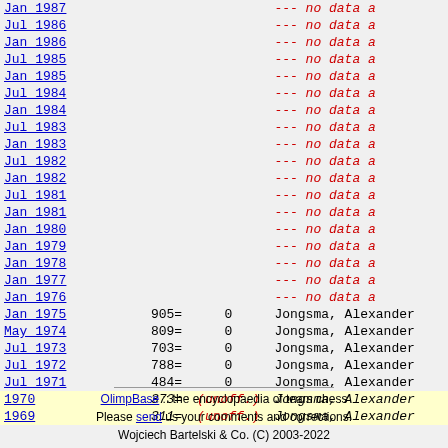| Date | Rank | Games | Name | Status |
| --- | --- | --- | --- | --- |
| Jan 1987 |  |  | --- no data av |  |
| Jul 1986 |  |  | --- no data av |  |
| Jan 1986 |  |  | --- no data av |  |
| Jul 1985 |  |  | --- no data av |  |
| Jan 1985 |  |  | --- no data av |  |
| Jul 1984 |  |  | --- no data av |  |
| Jan 1984 |  |  | --- no data av |  |
| Jul 1983 |  |  | --- no data av |  |
| Jan 1983 |  |  | --- no data av |  |
| Jul 1982 |  |  | --- no data av |  |
| Jan 1982 |  |  | --- no data av |  |
| Jul 1981 |  |  | --- no data av |  |
| Jan 1981 |  |  | --- no data av |  |
| Jan 1980 |  |  | --- no data av |  |
| Jan 1979 |  |  | --- no data av |  |
| Jan 1978 |  |  | --- no data av |  |
| Jan 1977 |  |  | --- no data av |  |
| Jan 1976 |  |  | --- no data av |  |
| Jan 1975 | 905= | 0 | Jongsma, Alexander |  |
| May 1974 | 809= | 0 | Jongsma, Alexander |  |
| Jul 1973 | 703= | 0 | Jongsma, Alexander |  |
| Jul 1972 | 788= | 0 | Jongsma, Alexander |  |
| Jul 1971 | 484= | 0 | Jongsma, Alexander |  |
| 1970 | 373= | (unoff.) | Jongsma, Alexander | unofficial |
| 1969 | 311= | (unoff.) | Jongsma, Alexander | unofficial |
OlimpBase :: the encyclopaedia of team chess
Please send us your comments and corrections.
Wojciech Bartelski & Co. (C) 2003-2022